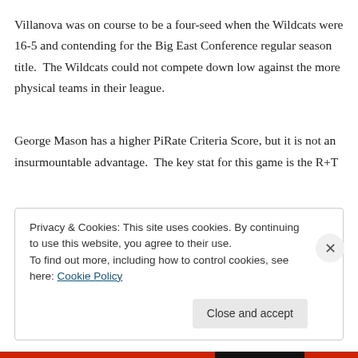Villanova was on course to be a four-seed when the Wildcats were 16-5 and contending for the Big East Conference regular season title.  The Wildcats could not compete down low against the more physical teams in their league.
George Mason has a higher PiRate Criteria Score, but it is not an insurmountable advantage.  The key stat for this game is the R+T
Privacy & Cookies: This site uses cookies. By continuing to use this website, you agree to their use.
To find out more, including how to control cookies, see here: Cookie Policy